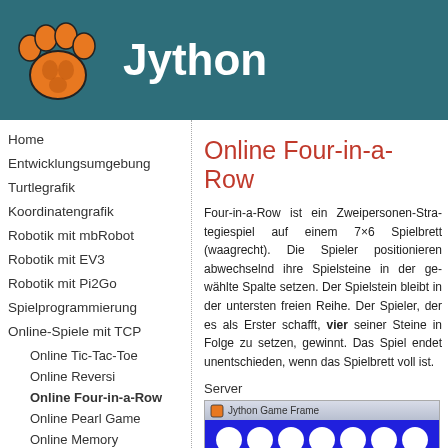Jython
Home
Entwicklungsumgebung
Turtlegrafik
Koordinatengrafik
Robotik mit mbRobot
Robotik mit EV3
Robotik mit Pi2Go
Spielprogrammierung
Online-Spiele mit TCP
Online Tic-Tac-Toe
Online Reversi
Online Four-in-a-Row
Online Pearl Game
Online Memory
Send Mail
Dokumentation
Online-Spiele mit MQTT
Datenbanken
Online Four-in-a-Row
Four-in-a-Row ist ein Zweipersonen-Stra... (waagrecht). Die Spieler positionieren abw... gewählte Spalte setzen. Der Spielstein b... Spieler, der es als Erster schafft, vier sei... endet unentschieden, wenn das Spielbrett...
Server
[Figure (screenshot): Screenshot of Jython Game Frame showing a Four-in-a-Row game board with blue background and white/red circles arranged in a grid]